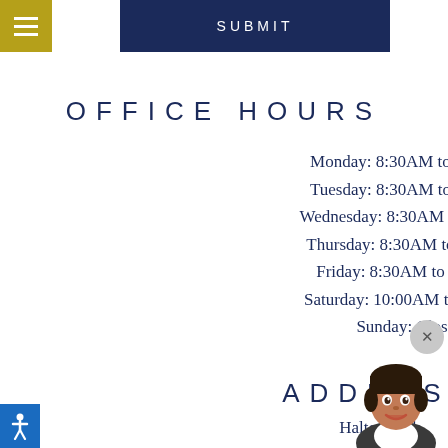SUBMIT
OFFICE HOURS
Monday: 8:30AM to 5:30PM
Tuesday: 8:30AM to 5:30PM
Wednesday: 8:30AM to 5:30PM
Thursday: 8:30AM to 5:30PM
Friday: 8:30AM to 5:30PM
Saturday: 10:00AM to 5:00PM
Sunday: Closed
ADDRESS
Halton Park
[Figure (illustration): Chat assistant widget with a cartoon female avatar and a help button labeled 'I can help!']